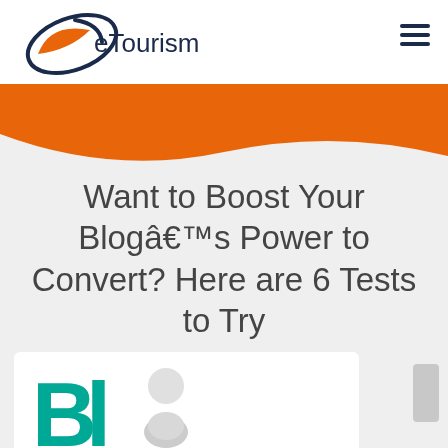[Figure (logo): eTourism logo with orange and navy swoosh graphic and 'eTourism' text]
[Figure (illustration): Orange wave banner background dividing the white header from the gray content area]
Want to Boost Your Blogâ€™s Power to Convert? Here are 6 Tests to Try
[Figure (illustration): Partial blog-themed illustration showing teal/green 'BL' letters and a small 3D character figure at the bottom of the page]